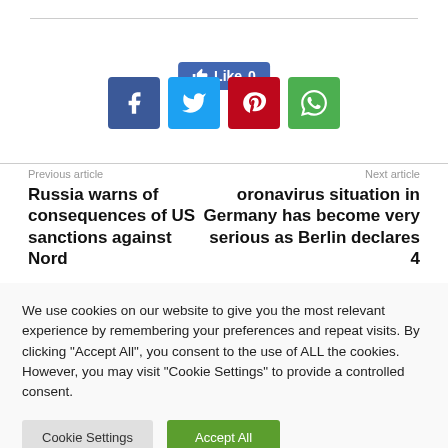[Figure (other): Like button with thumbs up icon showing count 0, blue background]
[Figure (other): Social share buttons: Facebook (dark blue), Twitter (light blue), Pinterest (red), WhatsApp (green)]
Previous article
Next article
Russia warns of consequences of US sanctions against Nord
oronavirus situation in Germany has become very serious as Berlin declares 4
We use cookies on our website to give you the most relevant experience by remembering your preferences and repeat visits. By clicking "Accept All", you consent to the use of ALL the cookies. However, you may visit "Cookie Settings" to provide a controlled consent.
Cookie Settings
Accept All